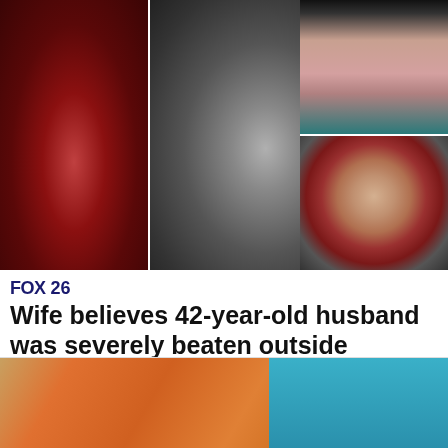[Figure (photo): Collage of four medical injury photos showing a wound on a lip/mouth, a laceration on the back of the head, a bruised chin/jaw area, and a severely bloodshot swollen eye.]
FOX 26
Wife believes 42-year-old husband was severely beaten outside Washington Ave ba...
[Figure (photo): Partial photo showing a person in an orange shirt against a blue background.]